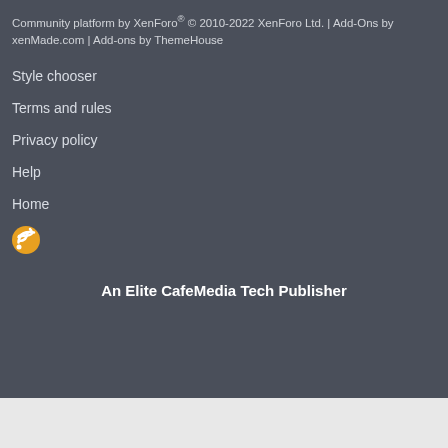Community platform by XenForo® © 2010-2022 XenForo Ltd. | Add-Ons by xenMade.com | Add-ons by ThemeHouse
Style chooser
Terms and rules
Privacy policy
Help
Home
[Figure (illustration): RSS feed icon - orange/white signal arcs symbol]
An Elite CafeMedia Tech Publisher